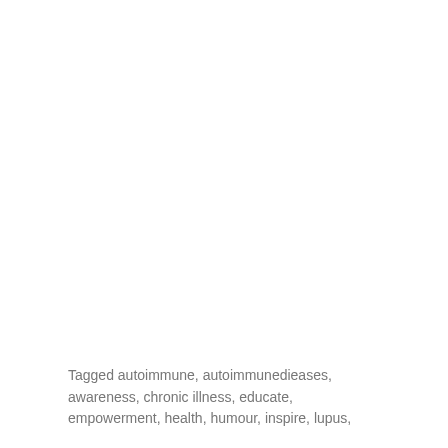Tagged autoimmune, autoimmunedieases, awareness, chronic illness, educate, empowerment, health, humour, inspire, lupus,